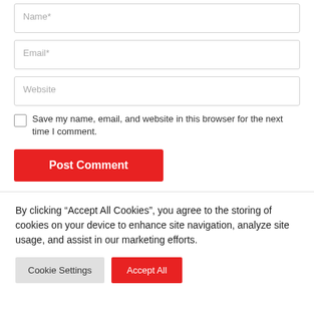Name*
Email*
Website
Save my name, email, and website in this browser for the next time I comment.
Post Comment
By clicking “Accept All Cookies”, you agree to the storing of cookies on your device to enhance site navigation, analyze site usage, and assist in our marketing efforts.
Cookie Settings
Accept All